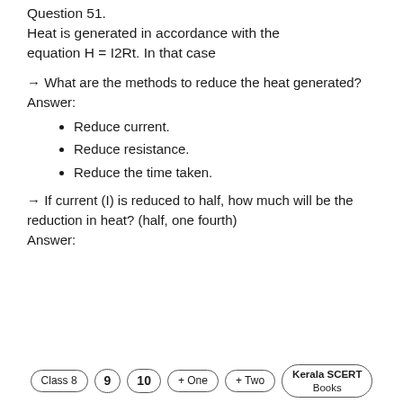Question 51.
Heat is generated in accordance with the equation H = I2Rt. In that case
→ What are the methods to reduce the heat generated?
Answer:
Reduce current.
Reduce resistance.
Reduce the time taken.
→ If current (I) is reduced to half, how much will be the reduction in heat? (half, one fourth)
Answer:
Class 8   9   10   + One   + Two   Kerala SCERT Books